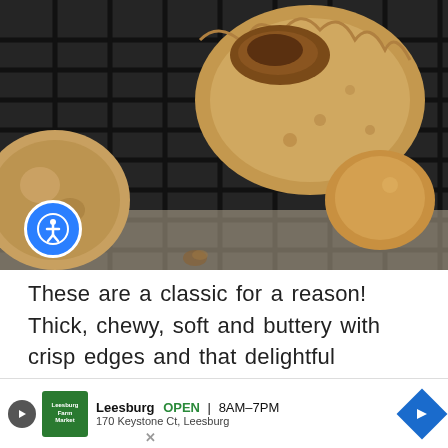[Figure (photo): Close-up photo of peanut butter cookies on a dark wire cooling rack. One cookie is broken open showing a chocolate/caramel center. Cookies are golden-brown and textured.]
These are a classic for a reason! Thick, chewy, soft and buttery with crisp edges and that delightful chocolate center. Enjoy these warm or room temperature – they'd also in
[Figure (other): Advertisement banner: Leesburg OPEN 8AM-7PM, 170 Keystone Ct, Leesburg. Shows a green logo, play button, navigation arrow icon, and close button.]